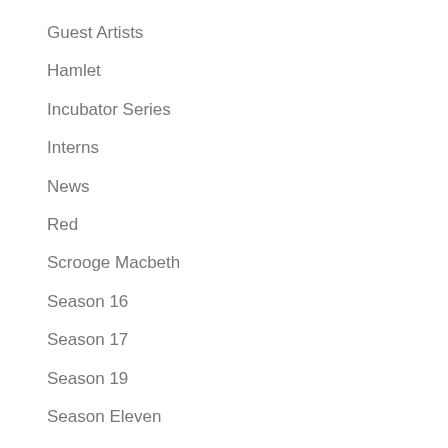Guest Artists
Hamlet
Incubator Series
Interns
News
Red
Scrooge Macbeth
Season 16
Season 17
Season 19
Season Eleven
Season Ten
Season Thirteen
Season Twelve
Special Projects